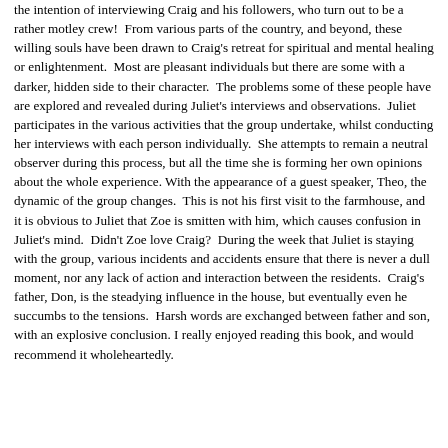the intention of interviewing Craig and his followers, who turn out to be a rather motley crew!  From various parts of the country, and beyond, these willing souls have been drawn to Craig's retreat for spiritual and mental healing or enlightenment.  Most are pleasant individuals but there are some with a darker, hidden side to their character.  The problems some of these people have are explored and revealed during Juliet's interviews and observations.  Juliet participates in the various activities that the group undertake, whilst conducting her interviews with each person individually.  She attempts to remain a neutral observer during this process, but all the time she is forming her own opinions about the whole experience. With the appearance of a guest speaker, Theo, the dynamic of the group changes.  This is not his first visit to the farmhouse, and it is obvious to Juliet that Zoe is smitten with him, which causes confusion in Juliet's mind.  Didn't Zoe love Craig?  During the week that Juliet is staying with the group, various incidents and accidents ensure that there is never a dull moment, nor any lack of action and interaction between the residents.  Craig's father, Don, is the steadying influence in the house, but eventually even he succumbs to the tensions.  Harsh words are exchanged between father and son, with an explosive conclusion. I really enjoyed reading this book, and would recommend it wholeheartedly.